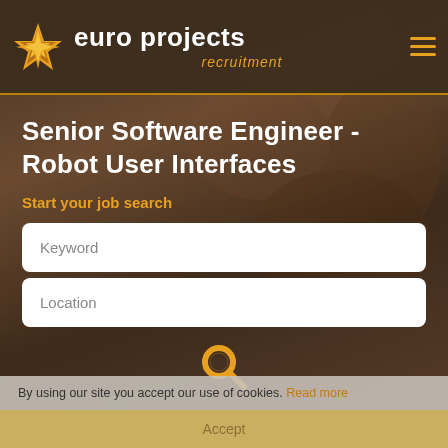euro projects recruitment
Senior Software Engineer - Robot User Interfaces
Start your job search
[Figure (screenshot): Keyword search input field (white rounded rectangle)]
[Figure (screenshot): Location search input field (white rounded rectangle)]
[Figure (illustration): Orange search magnifying glass icon]
By using our site you accept our use of cookies. Read more
Accept